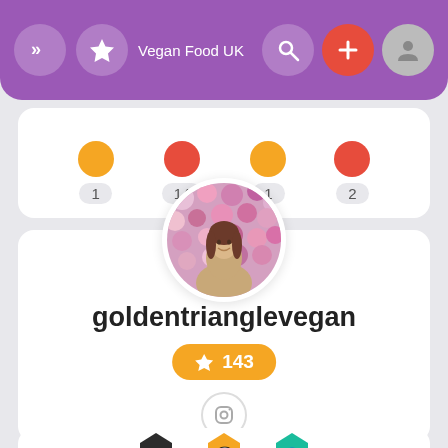[Figure (screenshot): Mobile app navigation bar with purple background, showing back/forward arrows, star icon, 'Vegan Food UK' label, search icon, red plus button, and gray user icon]
[Figure (screenshot): Partial card showing four colored badge circles with numbers 1, 14, 1, 2 below them]
[Figure (screenshot): User profile card showing circular profile photo of a woman in front of flower wall, username 'goldentrianglevegan', gold star badge with 143, Instagram icon, and three hexagonal badges at bottom]